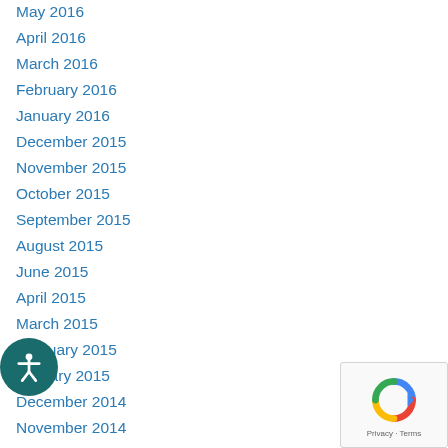May 2016
April 2016
March 2016
February 2016
January 2016
December 2015
November 2015
October 2015
September 2015
August 2015
June 2015
April 2015
March 2015
February 2015
January 2015
December 2014
November 2014
October 2014